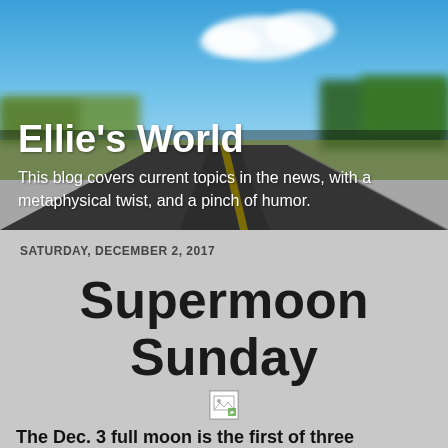[Figure (photo): Blurred outdoor road scene with blue sky, white clouds, green trees on right, and a road with yellow center line. Serves as the blog header background image.]
Ellie's World
This blog covers current topics in the news, with a metaphysical twist, and a pinch of humor.
SATURDAY, DECEMBER 2, 2017
Supermoon Sunday
[Figure (illustration): Small broken/missing image placeholder icon]
The Dec. 3 full moon is the first of three consecutive